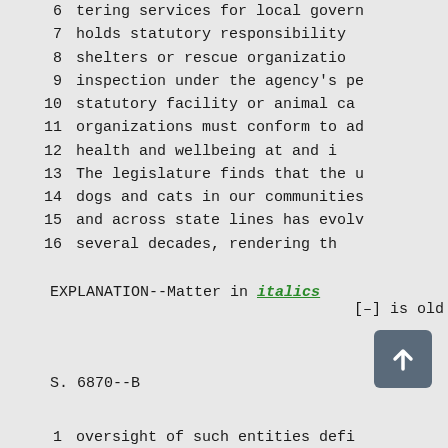6   tering services for local govern
7   holds statutory responsibility
8   shelters or  rescue organizatio
9   inspection under the agency's pe
10  statutory  facility or animal ca
11  organizations must conform to ad
12  health  and  wellbeing  at and i
13  The legislature finds that the u
14  dogs and cats in our communities
15  and across state lines has evolv
16  several  decades,  rendering  th
EXPLANATION--Matter in italics [–] is old
S. 6870--B
1   oversight of such entities defi